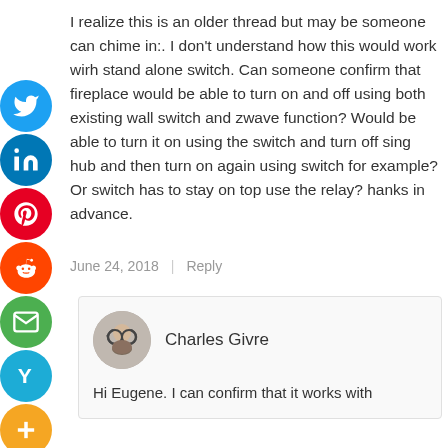I realize this is an older thread but may be someone can chime in:. I don't understand how this would work wirh stand alone switch. Can someone confirm that fireplace would be able to turn on and off using both existing wall switch and zwave function? Would be able to turn it on using the switch and turn off sing hub and then turn on again using switch for example? Or switch has to stay on top use the relay? hanks in advance.
June 24, 2018 | Reply
Charles Givre
Hi Eugene. I can confirm that it works with